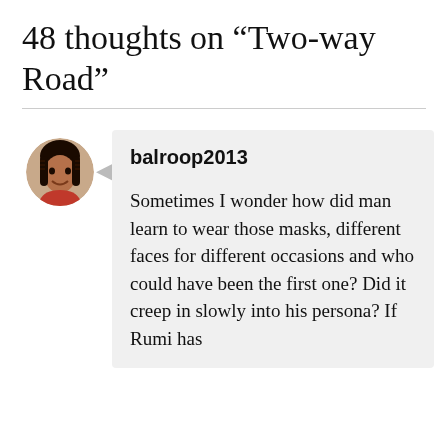48 thoughts on “Two-way Road”
[Figure (photo): Circular avatar photo of a woman with dark hair, wearing a red outfit, smiling. The image is cropped in a circle.]
balroop2013
Sometimes I wonder how did man learn to wear those masks, different faces for different occasions and who could have been the first one? Did it creep in slowly into his persona? If Rumi has